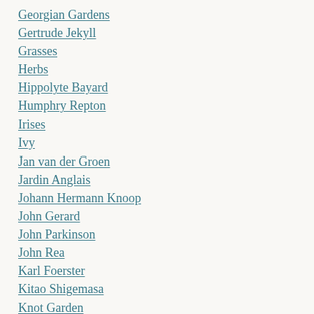Georgian Gardens
Gertrude Jekyll
Grasses
Herbs
Hippolyte Bayard
Humphry Repton
Irises
Ivy
Jan van der Groen
Jardin Anglais
Johann Hermann Knoop
John Gerard
John Parkinson
John Rea
Karl Foerster
Kitao Shigemasa
Knot Garden
Labyrinth
Maria Elisabetha Jacson